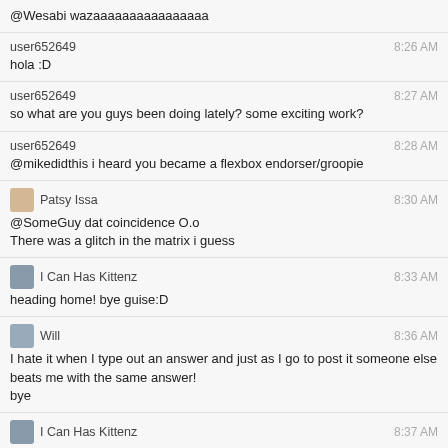@Wesabi wazaaaaaaaaaaaaaaaa
user652649
hola :D
8:26 AM
user652649
so what are you guys been doing lately? some exciting work?
8:27 AM
user652649
@mikedidthis i heard you became a flexbox endorser/groopie
8:28 AM
Patsy Issa
@SomeGuy dat coincidence O.o
There was a glitch in the matrix i guess
8:30 AM
I Can Has Kittenz
heading home! bye guise:D
8:33 AM
Will
I hate it when I type out an answer and just as I go to post it someone else beats me with the same answer!
bye
8:36 AM
I Can Has Kittenz
@Will I know how that feels, but still post it xD and then edit it and add more stuff
8:37 AM
user652649
someone ever had to deal with dbms dead locks?
8:38 AM